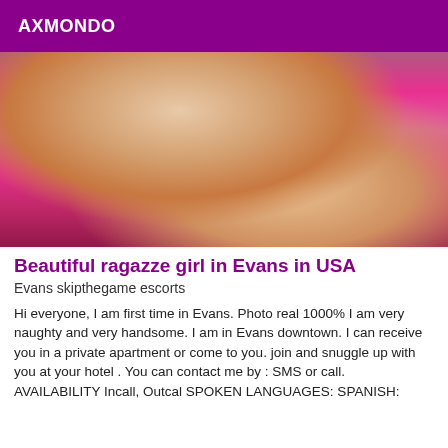AXMONDO
[Figure (photo): A woman posing on a pink satin bed with a teal/dark background]
Beautiful ragazze girl in Evans in USA
Evans skipthegame escorts
Hi everyone, I am first time in Evans. Photo real 1000% I am very naughty and very handsome. I am in Evans downtown. I can receive you in a private apartment or come to you. join and snuggle up with you at your hotel . You can contact me by : SMS or call. AVAILABILITY Incall, Outcal SPOKEN LANGUAGES: SPANISH: